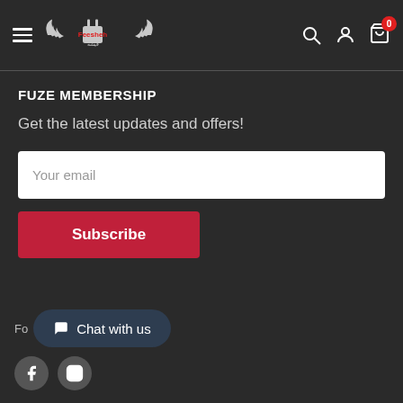[Figure (logo): Feesheh logo with wings and a power plug, text in Arabic and English]
FUZE MEMBERSHIP
Get the latest updates and offers!
Your email
Subscribe
Chat with us
[Figure (other): Social media icons: Facebook and Instagram circles]